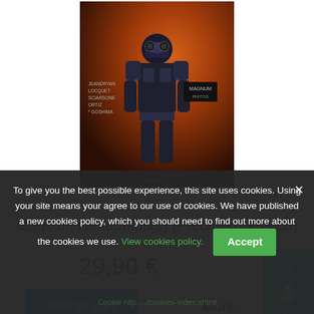[Figure (illustration): Book cover of 'Magnum Génération(s)' showing an armored/sci-fi figure against an orange-red background. Credits listed: JEANDRYAN, LOCQUET, SCIARSONE, ORTIZ, GOSHIMA, CAURETTE. Magnum Photos badge visible.]
Magnum Génération(s) (Preorder - French)
29,90 €
Add to cart
More
Sign In
In Stock
To give you the best possible experience, this site uses cookies. Using your site means your agree to our use of cookies. We have published a new cookies policy, which you should need to find out more about the cookies we use. View cookies policy.   Accept